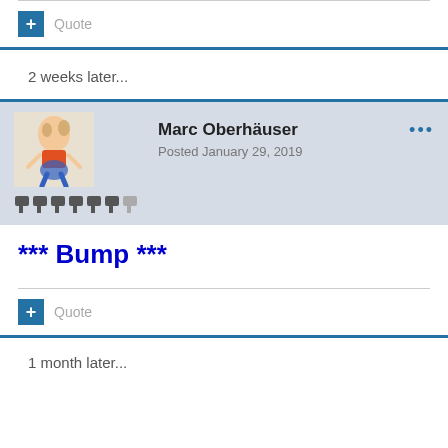Quote
2 weeks later...
Marc Oberhäuser
Posted January 29, 2019
*** Bump ***
Quote
1 month later...